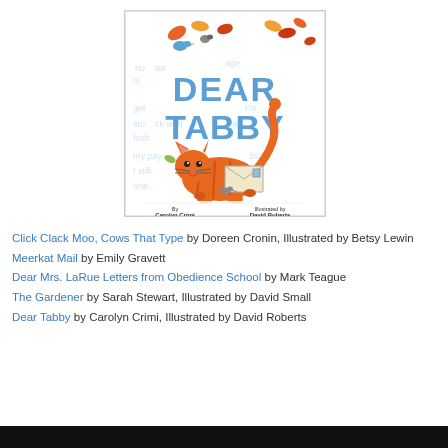[Figure (illustration): Book cover of 'Dear Tabby' by Carolyn Crimi, Illustrated by David Roberts. Shows an orange tabby cat carrying an envelope, surrounded by autumn leaves and small birds. Bold blue text reads 'DEAR TABBY' with faint letter text in background.]
Click Clack Moo, Cows That Type by Doreen Cronin, Illustrated by Betsy Lewin
Meerkat Mail by Emily Gravett
Dear Mrs. LaRue Letters from Obedience School by Mark Teague
The Gardener by Sarah Stewart, Illustrated by David Small
Dear Tabby by Carolyn Crimi, Illustrated by David Roberts